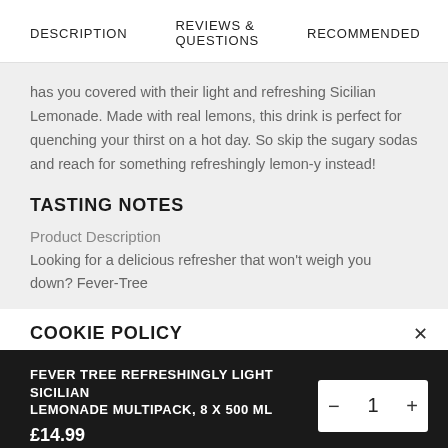DESCRIPTION    REVIEWS & QUESTIONS    RECOMMENDED
has you covered with their light and refreshing Sicilian Lemonade. Made with real lemons, this drink is perfect for quenching your thirst on a hot day. So skip the sugary sodas and reach for something refreshingly lemon-y instead!
TASTING NOTES
Product Description
Looking for a delicious refresher that won't weigh you down? Fever-Tree
COOKIE POLICY
FEVER TREE REFRESHINGLY LIGHT SICILIAN LEMONADE MULTIPACK, 8 X 500 ML
£14.99
SOLD OUT - NOTIFY ME